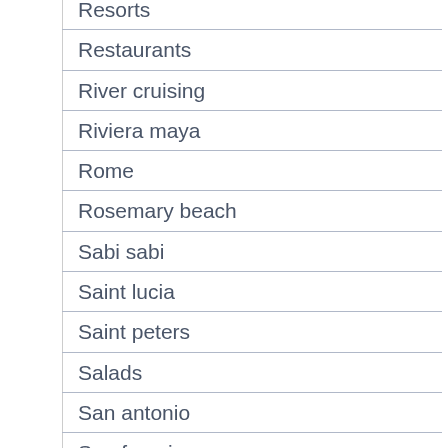Resorts
Restaurants
River cruising
Riviera maya
Rome
Rosemary beach
Sabi sabi
Saint lucia
Saint peters
Salads
San antonio
San francisco
San juan mountains
Sandwiches